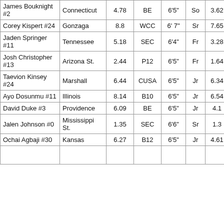| James Bouknight #2 | Connecticut | 4.78 | BE | 6'5" | So | 3.62 | -1.16 | 96 |
| Corey Kispert #24 | Gonzaga | 8.8 | WCC | 6' 7" | Sr | 7.65 | -1.15 | 95 |
| Jaden Springer #11 | Tennessee | 5.18 | SEC | 6'4" | Fr | 3.28 | -1.9 | 95 |
| Josh Christopher #13 | Arizona St. | 2.44 | P12 | 6'5" | Fr | 1.64 | -0.8 | 95 |
| Taevion Kinsey #24 | Marshall | 6.44 | CUSA | 6'5" | Jr | 6.34 | -0.1 | 95 |
| Ayo Dosunmu #11 | Illinois | 8.14 | B10 | 6'5" | Jr | 6.54 | -1.6 | 94 |
| David Duke #3 | Providence | 6.09 | BE | 6'5" | Jr | 4.1 | -1.99 | 93 |
| Jalen Johnson #0 | Mississippi St. | 1.35 | SEC | 6'6" | Sr | 1.3 | -0.05 | 93 |
| Ochai Agbaji #30 | Kansas | 6.27 | B12 | 6'5" | Jr | 4.61 | -1.66 | 93 |